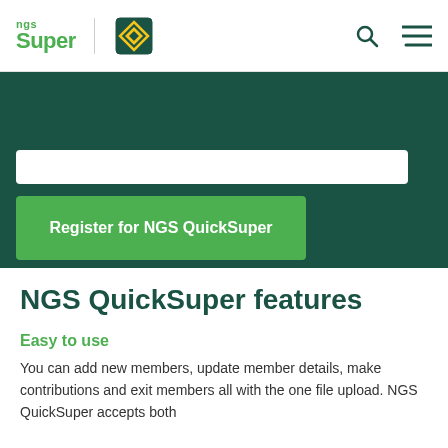NGS Super
[Figure (screenshot): NGS Super logo with green text and an advisory superfund diamond badge icon]
Register for NGS QuickSuper
NGS QuickSuper features
Easy to use
You can add new members, update member details, make contributions and exit members all with the one file upload. NGS QuickSuper accepts both